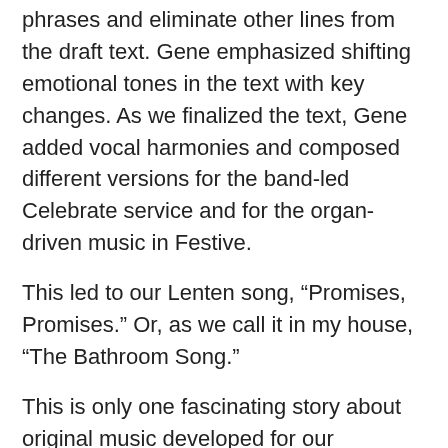phrases and eliminate other lines from the draft text. Gene emphasized shifting emotional tones in the text with key changes. As we finalized the text, Gene added vocal harmonies and composed different versions for the band-led Celebrate service and for the organ-driven music in Festive.
This led to our Lenten song, “Promises, Promises.” Or, as we call it in my house, “The Bathroom Song.”
This is only one fascinating story about original music developed for our worshiping community through our music ministry. Here we’ll share the stories behind other songs that have grown from the collaboration of our remarkable team of composers and musicians.